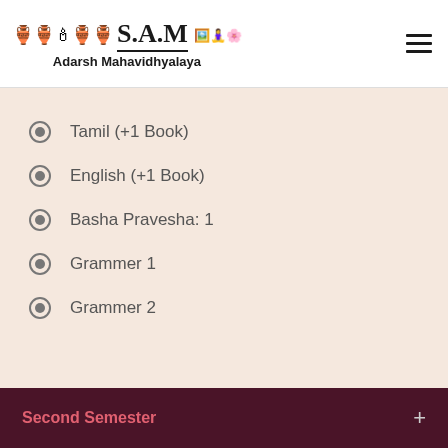S.A.M Adarsh Mahavidhyalaya
Tamil (+1 Book)
English (+1 Book)
Basha Pravesha: 1
Grammer 1
Grammer 2
Second Semester